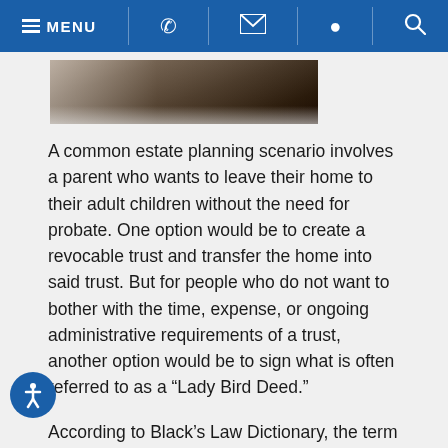MENU [phone] [email] [location] [search]
[Figure (photo): Partial view of an open book, blurred, with dark background.]
A common estate planning scenario involves a parent who wants to leave their home to their adult children without the need for probate. One option would be to create a revocable trust and transfer the home into said trust. But for people who do not want to bother with the time, expense, or ongoing administrative requirements of a trust, another option would be to sign what is often referred to as a “Lady Bird Deed.”
According to Black’s Law Dictionary, the term “Lady Bird Deed” was “accidentally coined in the 1980s by the Florida lawyer who invented this type of deed and used the names of the [former President] Lyndon Baines Johnson family in a sample deed.” The more technical term for this type of document is an enhanced life estate deed. Florida is one of a